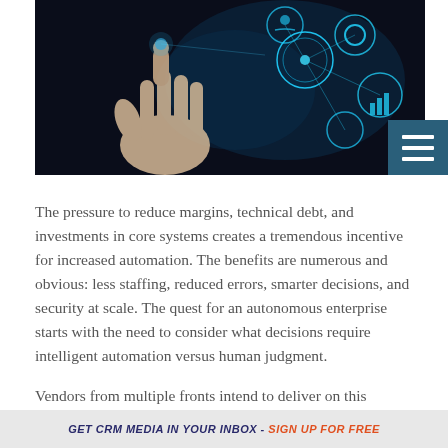[Figure (photo): Dark background hero image showing a hand pointing at glowing blue digital/tech circular icons and network graphics, suggesting automation and AI technology]
The pressure to reduce margins, technical debt, and investments in core systems creates a tremendous incentive for increased automation. The benefits are numerous and obvious: less staffing, reduced errors, smarter decisions, and security at scale. The quest for an autonomous enterprise starts with the need to consider what decisions require intelligent automation versus human judgment.
Vendors from multiple fronts intend to deliver on this promise. Legacy CRM and customer experience providers, cloud vendors, business process management suppliers, robotic process automation providers, process-mining
GET CRM MEDIA IN YOUR INBOX - SIGN UP FOR FREE